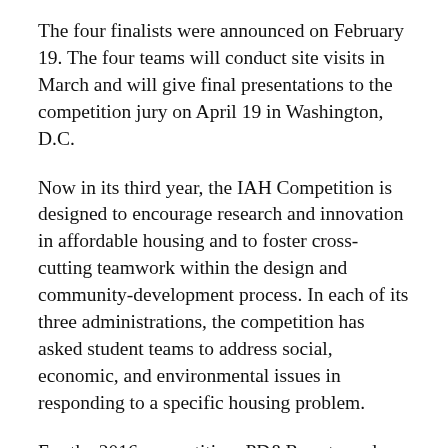The four finalists were announced on February 19. The four teams will conduct site visits in March and will give final presentations to the competition jury on April 19 in Washington, D.C.
Now in its third year, the IAH Competition is designed to encourage research and innovation in affordable housing and to foster cross-cutting teamwork within the design and community-development process. In each of its three administrations, the competition has asked student teams to address social, economic, and environmental issues in responding to a specific housing problem.
For the 2016 competition, PD&R partnered with the Housing Authority of the City of Santa Barbara in